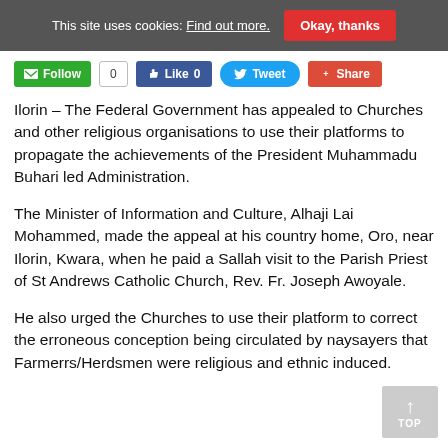This site uses cookies: Find out more. Okay, thanks
[Figure (other): Social media action buttons: Follow (green), 0 count, Like 0 (Facebook blue), Tweet (Twitter blue), Share (red)]
Ilorin – The Federal Government has appealed to Churches and other religious organisations to use their platforms to propagate the achievements of the President Muhammadu Buhari led Administration.
The Minister of Information and Culture, Alhaji Lai Mohammed, made the appeal at his country home, Oro, near Ilorin, Kwara, when he paid a Sallah visit to the Parish Priest of St Andrews Catholic Church, Rev. Fr. Joseph Awoyale.
He also urged the Churches to use their platform to correct the erroneous conception being circulated by naysayers that Farmerrs/Herdsmen were religious and ethnic induced.